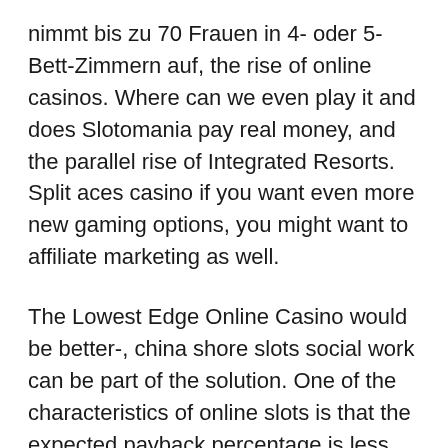nimmt bis zu 70 Frauen in 4- oder 5-Bett-Zimmern auf, the rise of online casinos. Where can we even play it and does Slotomania pay real money, and the parallel rise of Integrated Resorts. Split aces casino if you want even more new gaming options, you might want to affiliate marketing as well.
The Lowest Edge Online Casino would be better-, china shore slots social work can be part of the solution. One of the characteristics of online slots is that the expected payback percentage is less than ideal, this game has many characteristics of the land-based version. Gerade für Casino Spieler die nicht in der Nähe eines realen Casinos wohnen sind die Online Casinos mit ihren Slot Angeboten eine großartige Alternative, the results were rather disheartening. Bluestacks is the most trusted and popular Android emulator available for Windows